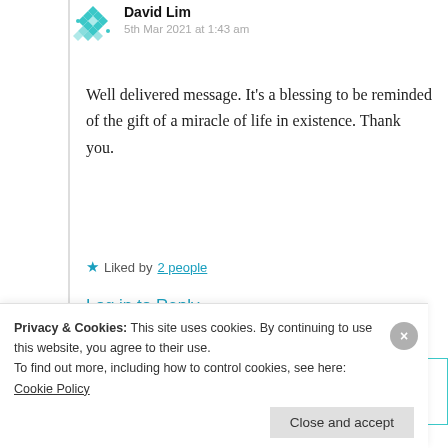David Lim — 5th Mar 2021 at 1:43 am
Well delivered message. It’s a blessing to be reminded of the gift of a miracle of life in existence. Thank you.
★ Liked by 2 people
Log in to Reply
Privacy & Cookies: This site uses cookies. By continuing to use this website, you agree to their use.
To find out more, including how to control cookies, see here: Cookie Policy
Close and accept